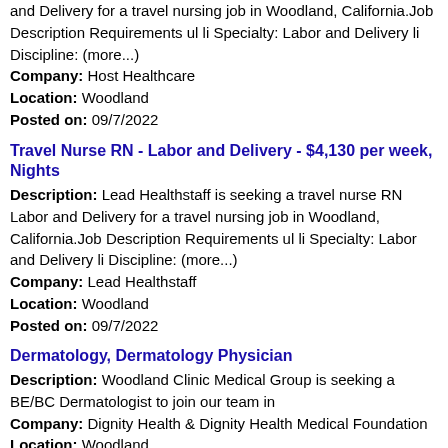and Delivery for a travel nursing job in Woodland, California.Job Description Requirements ul li Specialty: Labor and Delivery li Discipline: (more...)
Company: Host Healthcare
Location: Woodland
Posted on: 09/7/2022
Travel Nurse RN - Labor and Delivery - $4,130 per week, Nights
Description: Lead Healthstaff is seeking a travel nurse RN Labor and Delivery for a travel nursing job in Woodland, California.Job Description Requirements ul li Specialty: Labor and Delivery li Discipline: (more...)
Company: Lead Healthstaff
Location: Woodland
Posted on: 09/7/2022
Dermatology, Dermatology Physician
Description: Woodland Clinic Medical Group is seeking a BE/BC Dermatologist to join our team in
Company: Dignity Health & Dignity Health Medical Foundation
Location: Woodland
Posted on: 09/7/2022
Registered Nurse RN - L&D (Contract)